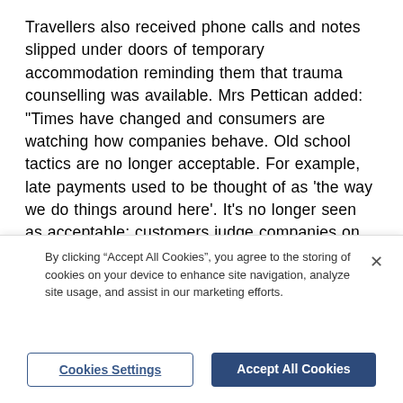Travellers also received phone calls and notes slipped under doors of temporary accommodation reminding them that trauma counselling was available. Mrs Pettican added: "Times have changed and consumers are watching how companies behave. Old school tactics are no longer acceptable. For example, late payments used to be thought of as 'the way we do things around here'. It's no longer seen as acceptable; customers judge companies on the way they conduct their business and treat people."
[Figure (photo): Partial photo of a yellow door or wall with a white door latch/handle visible on the right side]
By clicking "Accept All Cookies", you agree to the storing of cookies on your device to enhance site navigation, analyze site usage, and assist in our marketing efforts.
Cookies Settings
Accept All Cookies